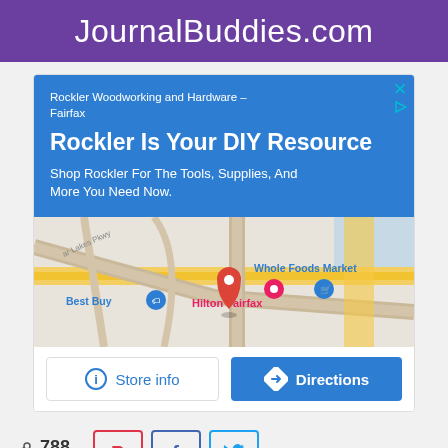JournalBuddies.com
[Figure (screenshot): Google Maps ad for Rockler Woodworking and Hardware - Fairfax. Shows blue ad area with headline 'Rockler Is Your DIY Resource', subtext 'Shop Rockler For The Tools, Supplies, And More You Need Now.', a map showing location near Hilton Fairfax, Best Buy, and Whole Foods Market, with Store info and Directions buttons.]
788 SHARES
[Figure (screenshot): Bottom advertisement bar showing CVS pharmacy logo, address '43930 Farmwell Hunt Plaza, Ashburn', 'In-store shopping' text with checkmark, and a directions diamond icon.]